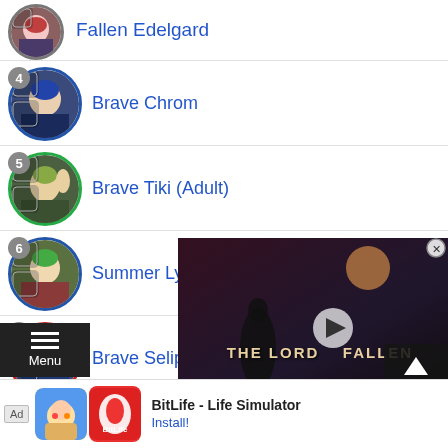Fallen Edelgard
4 Brave Chrom
5 Brave Tiki (Adult)
6 Summer Lyn
7 Brave Seliph
Jeralt
[Figure (screenshot): Video overlay showing 'The Lords of the Fallen' game trailer with play button and close (X) button, plus Top arrow button]
[Figure (infographic): Bottom menu button with hamburger icon and 'Menu' label]
[Figure (infographic): Ad bar: BitLife - Life Simulator with Install button]